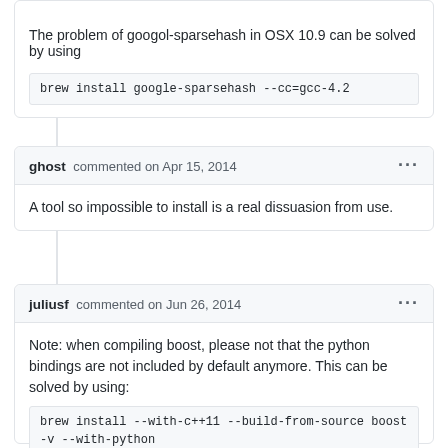The problem of googol-sparsehash in OSX 10.9 can be solved by using
brew install google-sparsehash --cc=gcc-4.2
ghost commented on Apr 15, 2014
A tool so impossible to install is a real dissuasion from use.
juliusf commented on Jun 26, 2014
Note: when compiling boost, please not that the python bindings are not included by default anymore. This can be solved by using:
brew install --with-c++11 --build-from-source boost -v --with-python